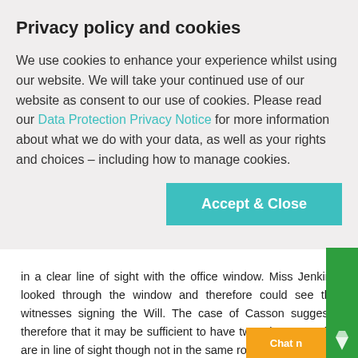Privacy policy and cookies
We use cookies to enhance your experience whilst using our website. We will take your continued use of our website as consent to our use of cookies. Please read our Data Protection Privacy Notice for more information about what we do with your data, as well as your rights and choices – including how to manage cookies.
Accept & Close
in a clear line of sight with the office window. Miss Jenkins looked through the window and therefore could see the witnesses signing the Will. The case of Casson suggests therefore that it may be sufficient to have two witnesses who are in line of sight though not in the same room, i.e. through a window or closed patio door. This could be the solution needed when it ca validly executing your Will.